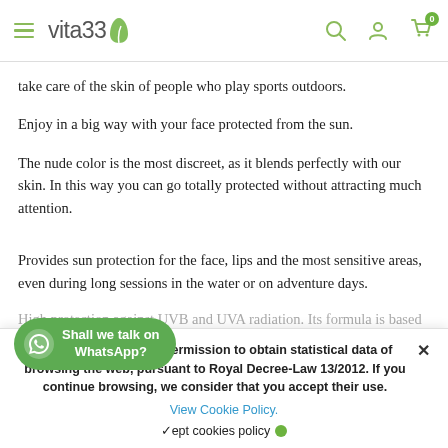vita33
take care of the skin of people who play sports outdoors.
Enjoy in a big way with your face protected from the sun.
The nude color is the most discreet, as it blends perfectly with our skin. In this way you can go totally protected without attracting much attention.
Provides sun protection for the face, lips and the most sensitive areas, even during long sessions in the water or on adventure days.
High protection against UVB and UVA radiation. Its formula is based
Vita33 requests your permission to obtain statistical data of browsing the web, pursuant to Royal Decree-Law 13/2012. If you continue browsing, we consider that you accept their use.
View Cookie Policy.
Accept cookies policy
Shall we talk on WhatsApp?